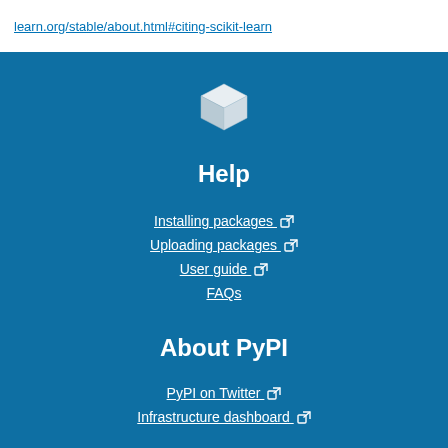learn.org/stable/about.html#citing-scikit-learn
[Figure (logo): 3D cube/box icon (PyPI logo) in white on blue background]
Help
Installing packages ↗
Uploading packages ↗
User guide ↗
FAQs
About PyPI
PyPI on Twitter ↗
Infrastructure dashboard ↗